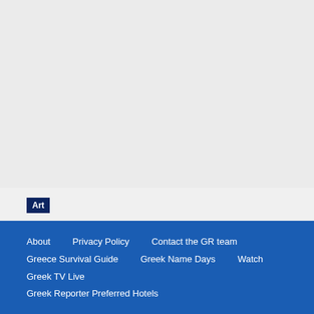[Figure (other): Grey/light background image area at top of page (placeholder/advertisement area)]
Art
What Alexander the Great Really Looked Like
About    Privacy Policy    Contact the GR team    Greece Survival Guide    Greek Name Days    Watch Greek TV Live    Greek Reporter Preferred Hotels